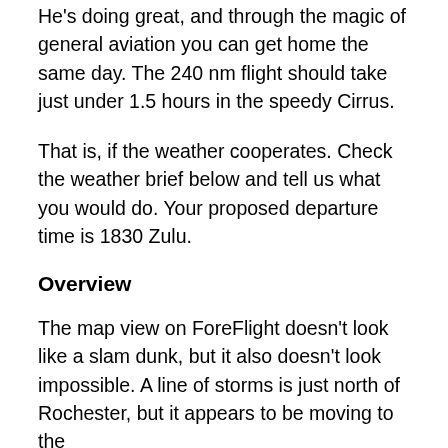He's doing great, and through the magic of general aviation you can get home the same day. The 240 nm flight should take just under 1.5 hours in the speedy Cirrus.
That is, if the weather cooperates. Check the weather brief below and tell us what you would do. Your proposed departure time is 1830 Zulu.
Overview
The map view on ForeFlight doesn't look like a slam dunk, but it also doesn't look impossible. A line of storms is just north of Rochester, but it appears to be moving to the